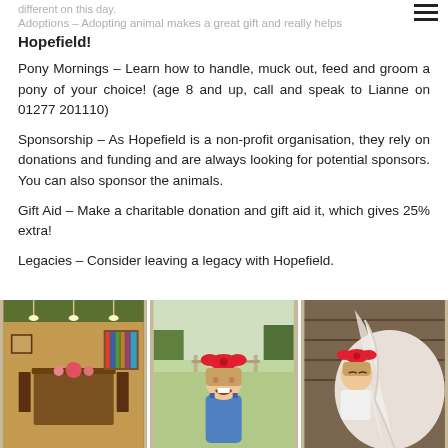different on this day.
Adoptions – Adopting animal makes a great gift and really helps Hopefield!
Pony Mornings – Learn how to handle, muck out, feed and groom a pony of your choice! (age 8 and up, call and speak to Lianne on 01277 201110)
Sponsorship – As Hopefield is a non-profit organisation, they rely on donations and funding and are always looking for potential sponsors. You can also sponsor the animals.
Gift Aid – Make a charitable donation and gift aid it, which gives 25% extra!
Legacies – Consider leaving a legacy with Hopefield.
[Figure (photo): Three photos side by side: left shows interior of a wooden cabin dining room with long table and pink flowers; middle shows a young girl smiling wearing a red bow in her hair and denim dungarees, standing outdoors at a farm; right shows the same girl with a red bow resting her head against a white horse or pony.]